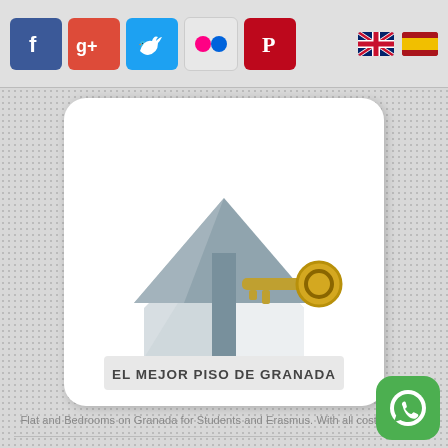Social media icons (Facebook, Google+, Twitter, Flickr, Pinterest) and language flags (English, Spanish)
[Figure (logo): El Mejor Piso de Granada logo: white rounded rectangle with 3D house and golden key illustration, text EL MEJOR PISO DE GRANADA at bottom]
Flat and Bedrooms on Granada for Students and Erasmus. With all costs included
Menu
Roads
[Figure (logo): WhatsApp green button icon in bottom right corner]